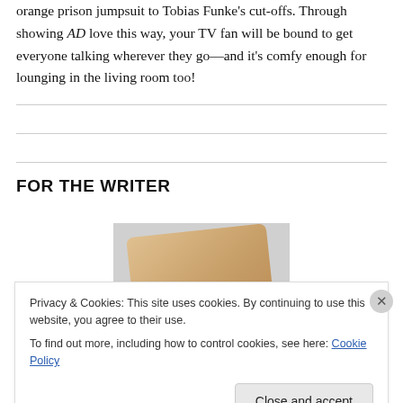orange prison jumpsuit to Tobias Funke's cut-offs. Through showing AD love this way, your TV fan will be bound to get everyone talking wherever they go—and it's comfy enough for lounging in the living room too!
FOR THE WRITER
[Figure (photo): A tan/brown leather-colored notebook or card at an angle, with partial text visible reading 'mbie' on the surface. Background is light gray.]
Privacy & Cookies: This site uses cookies. By continuing to use this website, you agree to their use.
To find out more, including how to control cookies, see here: Cookie Policy
Close and accept